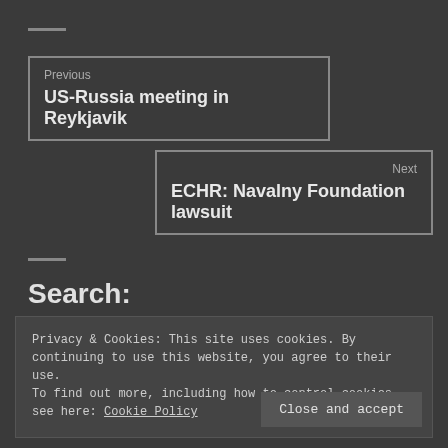—
Previous
US-Russia meeting in Reykjavik
Next
ECHR: Navalny Foundation lawsuit
—
Search:
Privacy & Cookies: This site uses cookies. By continuing to use this website, you agree to their use.
To find out more, including how to control cookies, see here: Cookie Policy
Close and accept